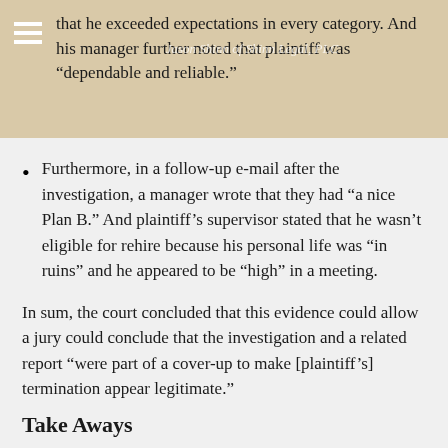that he exceeded expectations in every category. And his manager further noted that plaintiff was “dependable and reliable.”
Furthermore, in a follow-up e-mail after the investigation, a manager wrote that they had “a nice Plan B.” And plaintiff’s supervisor stated that he wasn’t eligible for rehire because his personal life was “in ruins” and he appeared to be “high” in a meeting.
In sum, the court concluded that this evidence could allow a jury could conclude that the investigation and a related report “were part of a cover-up to make [plaintiff’s] termination appear legitimate.”
Take Aways